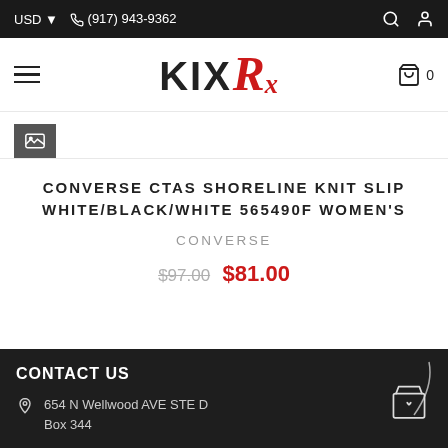USD ▼  ☎ (917) 943-9362
[Figure (logo): KIXRx store logo with black bold KIX and red italic Rx script]
CONVERSE CTAS SHORELINE KNIT SLIP WHITE/BLACK/WHITE 565490F WOMEN'S
CONVERSE
$97.00 $81.00
CONTACT US  654 N Wellwood AVE STE D Box 344